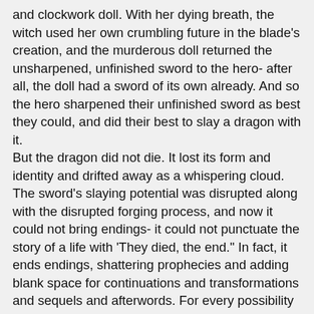and clockwork doll. With her dying breath, the witch used her own crumbling future in the blade's creation, and the murderous doll returned the unsharpened, unfinished sword to the hero- after all, the doll had a sword of its own already. And so the hero sharpened their unfinished sword as best they could, and did their best to slay a dragon with it.
But the dragon did not die. It lost its form and identity and drifted away as a whispering cloud. The sword's slaying potential was disrupted along with the disrupted forging process, and now it could not bring endings- it could not punctuate the story of a life with 'They died, the end." In fact, it ends endings, shattering prophecies and adding blank space for continuations and transformations and sequels and afterwords. For every possibility it shatters, a hundred more potentialities fragment out from the sundered future.
In short, it forces a Save vs Plot Hook on every hit, but never reduces HP below 1. Villains reveal mixed motivations and possibilities for redemption. No-Name NPCs reveal themselves to be princes in disguise, or offer to lead the players to the City of Gold in exchange